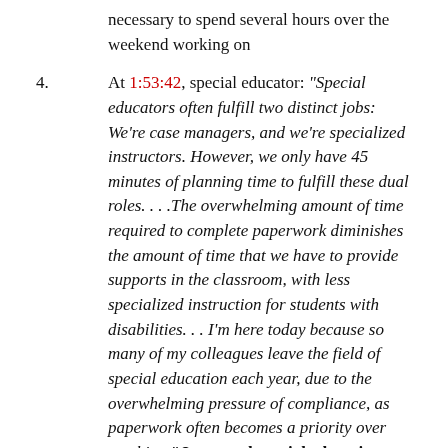necessary to spend several hours over the weekend working on
4. At 1:53:42, special educator: “Special educators often fulfill two distinct jobs: We’re case managers, and we’re specialized instructors. However, we only have 45 minutes of planning time to fulfill these dual roles. . . .The overwhelming amount of time required to complete paperwork diminishes the amount of time that we have to provide supports in the classroom, with less specialized instruction for students with disabilities. . . I’m here today because so many of my colleagues leave the field of special education each year, due to the overwhelming pressure of compliance, as paperwork often becomes a priority over teaching.” Increased special education funding is needed for additional special educators, instructional specialists, and IEP clerks.